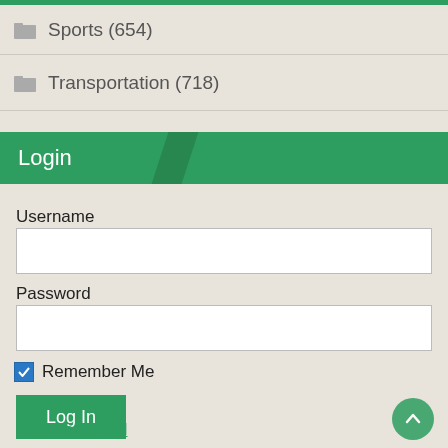Sports (654)
Transportation (718)
Login
Username
Password
Remember Me
Log In
Lost Password